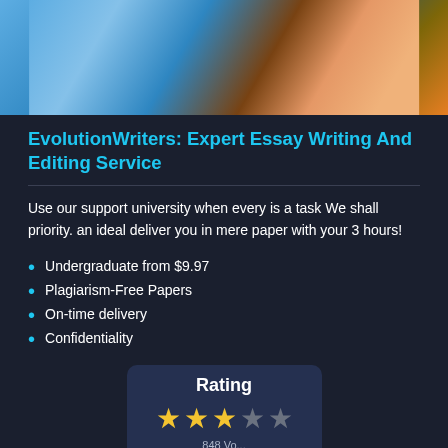[Figure (photo): Students with backpacks, partial view showing torsos and colorful bags]
EvolutionWriters: Expert Essay Writing And Editing Service
Use our support university when every is a task We shall priority. an ideal deliver you in mere paper with your 3 hours!
Undergraduate from $9.97
Plagiarism-Free Papers
On-time delivery
Confidentiality
[Figure (infographic): Rating widget showing 3 out of 5 stars with vote count below]